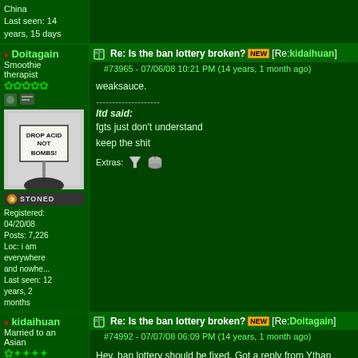China
Last seen: 14 years, 15 days
Re: Is the ban lottery broken? [NEW] [Re: kidaihuan]
#73965 - 07/06/08 10:21 PM (14 years, 1 month ago)
Doitagain
Smoothie therapist
Registered: 04/20/08
Posts: 7,226
Loc: i am everywhere and nowhe...
Last seen: 12 years, 2 months
weaksauce.
--------------------
ltd said:
fgts just don't understand
keep the shit
Extras:
Re: Is the ban lottery broken? [NEW] [Re: Doitagain]
#74992 - 07/07/08 06:09 PM (14 years, 1 month ago)
kidaihuan
Married to an Asian
Hey, ban lottery should be fixed. Got a reply from Ythan today.